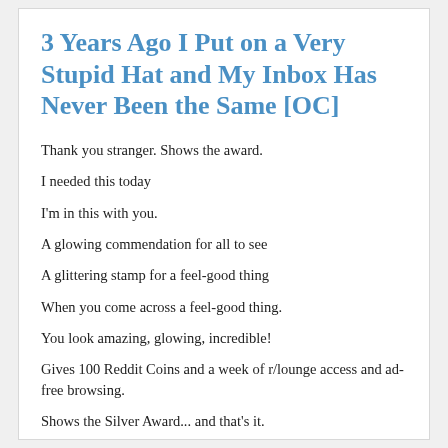3 Years Ago I Put on a Very Stupid Hat and My Inbox Has Never Been the Same [OC]
Thank you stranger. Shows the award.
I needed this today
I'm in this with you.
A glowing commendation for all to see
A glittering stamp for a feel-good thing
When you come across a feel-good thing.
You look amazing, glowing, incredible!
Gives 100 Reddit Coins and a week of r/lounge access and ad-free browsing.
Shows the Silver Award... and that's it.